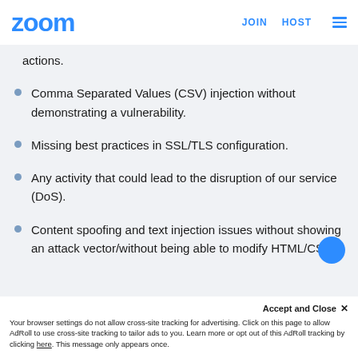zoom | JOIN | HOST
actions.
Comma Separated Values (CSV) injection without demonstrating a vulnerability.
Missing best practices in SSL/TLS configuration.
Any activity that could lead to the disruption of our service (DoS).
Content spoofing and text injection issues without showing an attack vector/without being able to modify HTML/CSS.
Rate limiting or bruteforce issues on non-
Accept and Close ✕ Your browser settings do not allow cross-site tracking for advertising. Click on this page to allow AdRoll to use cross-site tracking to tailor ads to you. Learn more or opt out of this AdRoll tracking by clicking here. This message only appears once.